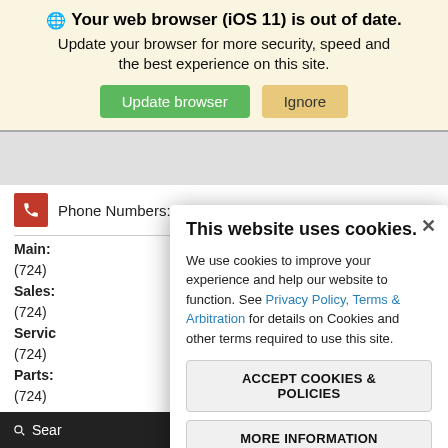Your web browser (iOS 11) is out of date.
Update your browser for more security, speed and the best experience on this site.
Update browser | Ignore
Phone Numbers:
Main:
(724)
Sales:
(724)
Servic
(724)
Parts:
(724)
Mon –
9:00 A
Fri
This website uses cookies.
We use cookies to improve your experience and help our website to function. See Privacy Policy, Terms & Arbitration for details on Cookies and other terms required to use this site.
ACCEPT COOKIES & POLICIES
MORE INFORMATION
Privacy Policy
Search | Contact